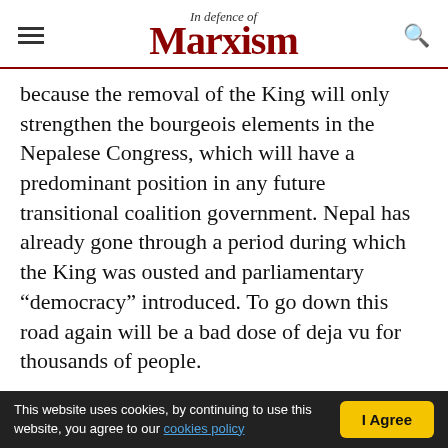In Defence of Marxism
because the removal of the King will only strengthen the bourgeois elements in the Nepalese Congress, which will have a predominant position in any future transitional coalition government. Nepal has already gone through a period during which the King was ousted and parliamentary “democracy” introduced. To go down this road again will be a bad dose of deja vu for thousands of people.
The Nepalese masses have shown that they are ready for a fight. The 10 day “bandh” and the deaths of five protesters (so far) have not closed
This website uses cookies, by continuing to use this website, you agree to our cookies policy  I Agree